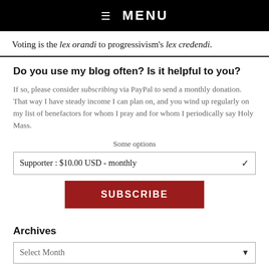☰ MENU
Voting is the lex orandi to progressivism's lex credendi.
Do you use my blog often? Is it helpful to you?
If so, please consider subscribing via PayPal to send a monthly donation. That way I have steady income I can plan on, and you wind up regularly on my list of benefactors for whom I pray and for whom I periodically say Holy Mass.
Some options
Supporter : $10.00 USD - monthly
SUBSCRIBE
Archives
Select Month